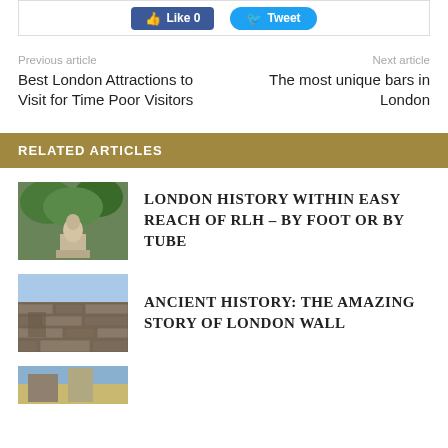[Figure (screenshot): Social share buttons: Facebook Like (0) and Twitter Tweet buttons]
Previous article
Best London Attractions to Visit for Time Poor Visitors
Next article
The most unique bars in London
RELATED ARTICLES
[Figure (photo): Photo of a bust statue on a pedestal surrounded by trees]
LONDON HISTORY WITHIN EASY REACH OF RLH – BY FOOT OR BY TUBE
[Figure (photo): Photo of an ancient stone wall, likely London Wall]
ANCIENT HISTORY: THE AMAZING STORY OF LONDON WALL
[Figure (photo): Partial photo of a third related article, cropped at bottom]